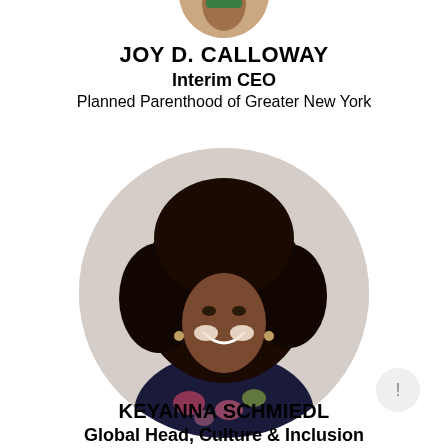[Figure (photo): Cropped circular portrait photo of Joy D. Calloway at top of page, partially cut off]
JOY D. CALLOWAY
Interim CEO
Planned Parenthood of Greater New York
[Figure (photo): Circular portrait photo of Keyanna Schmiedl, a woman with a large natural afro hairstyle, smiling, wearing a floral dark top]
KEYANNA SCHMIEDL
Global Head, Culture & Inclusion